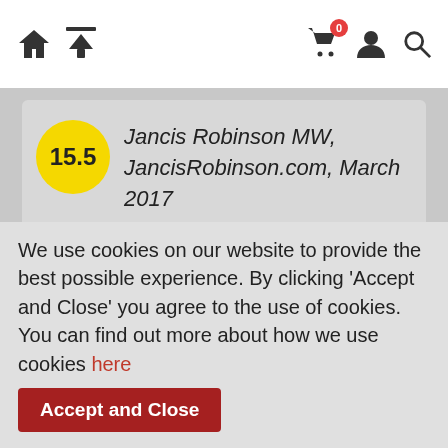Navigation header with home icon, upload icon, cart (0), user icon, and search icon
15.5
Jancis Robinson MW, JancisRobinson.com, March 2017
Very good saturated deep red. Cherry, plum, smoke and warm earth on the nose, lifted by spices and menthol. Fat, sweet, lush and impressively concentrated; comes across as more powerful but less pliant today than the 2006, with a firm tannic structure for a wine from this property. Not at all over
We use cookies on our website to provide the best possible experience. By clicking 'Accept and Close' you agree to the use of cookies. You can find out more about how we use cookies here
Accept and Close